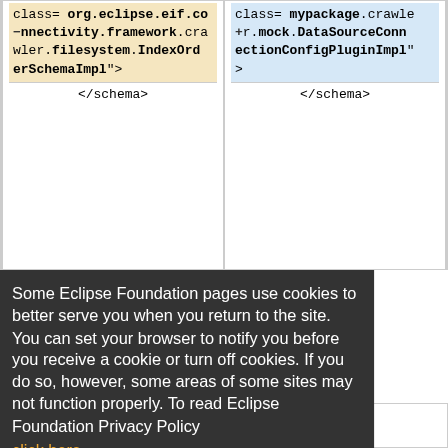| class= org.eclipse.eif.connectivity.framework.crawler.filesystem.IndexOrderSchemaImpl"> | class= mypackage.crawler.mock.DataSourceConnectionConfigPluginImpl"> |
| </schema> | </schema> |
Some Eclipse Foundation pages use cookies to better serve you when you return to the site. You can set your browser to notify you before you receive a cookie or turn off cookies. If you do so, however, some areas of some sites may not function properly. To read Eclipse Foundation Privacy Policy click here.
Decline
Allow cookies
| name as schema) |  |